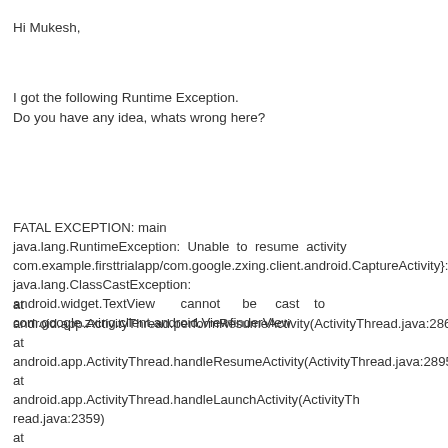Hi Mukesh,
I got the following Runtime Exception.
Do you have any idea, whats wrong here?
FATAL EXCEPTION: main
java.lang.RuntimeException: Unable to resume activity com.example.firsttrialapp/com.google.zxing.client.android.CaptureActivity}: java.lang.ClassCastException: android.widget.TextView cannot be cast to com.google.zxing.client.android.ViewfinderView
at
android.app.ActivityThread.performResumeActivity(ActivityThread.java:2866)
at
android.app.ActivityThread.handleResumeActivity(ActivityThread.java:2895)
at
android.app.ActivityThread.handleLaunchActivity(ActivityThread.java:2359)
at
android.app.ActivityThread.access$600(ActivityThread.java